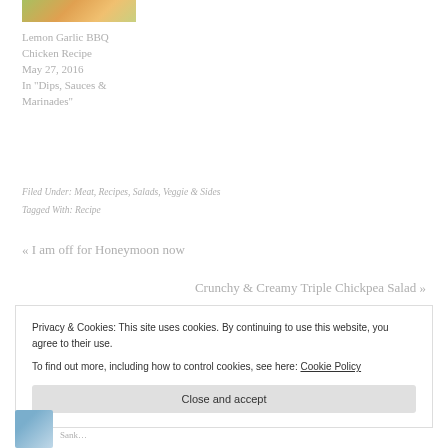[Figure (photo): Partial food photo showing grilled chicken with lemon and vegetables]
Lemon Garlic BBQ Chicken Recipe
May 27, 2016
In "Dips, Sauces & Marinades"
Filed Under: Meat, Recipes, Salads, Veggie & Sides
Tagged With: Recipe
« I am off for Honeymoon now
Crunchy & Creamy Triple Chickpea Salad »
Privacy & Cookies: This site uses cookies. By continuing to use this website, you agree to their use.
To find out more, including how to control cookies, see here: Cookie Policy
Close and accept